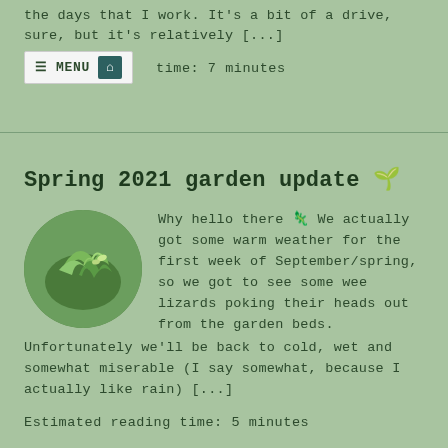the days that I work. It's a bit of a drive, sure, but it's relatively [...]
MENU [home icon]
Estimated reading time: 7 minutes
Spring 2021 garden update 🌱
[Figure (photo): Circular photo of green plant/pea shoots in a garden bed]
Why hello there 🦎 We actually got some warm weather for the first week of September/spring, so we got to see some wee lizards poking their heads out from the garden beds. Unfortunately we'll be back to cold, wet and somewhat miserable (I say somewhat, because I actually like rain) [...]
Estimated reading time: 5 minutes